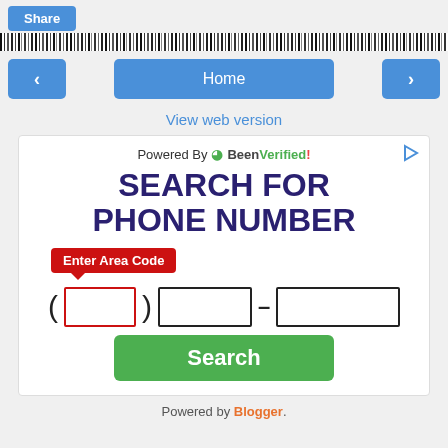[Figure (screenshot): Share button (blue) at top left]
[Figure (screenshot): Barcode/scanner strip image]
[Figure (screenshot): Navigation row with left arrow, Home button, right arrow]
View web version
[Figure (screenshot): BeenVerified ad: 'SEARCH FOR PHONE NUMBER' with phone number input fields (area code with red tooltip 'Enter Area Code'), a Search button, and 'Powered By BeenVerified!' header]
Powered by Blogger.